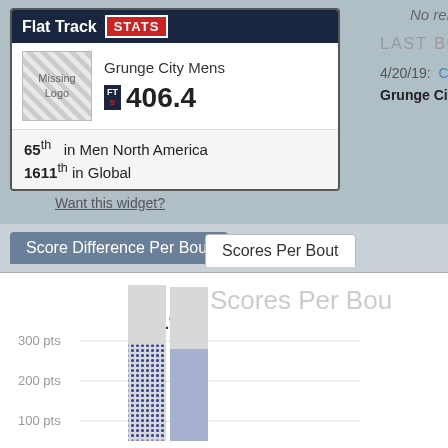No related teams
[Figure (infographic): Flat Track STATS widget showing Grunge City Mens team with rating 406.4, ranked 65th in Men North America and 1611th in Global]
Want this widget?
LAST BOUT
4/20/19: Cobra Quads (145) @
Grunge City Mens (163
Score Difference Per Bout
Scores Per Bout
Scores Per Bou
2019
4-19  4-20
[Figure (bar-chart): Bar chart showing scores per bout for 2019, dates 4-19 and 4-20, with bars around 300 pts height and blue dotted overlay bars around 160-175 pts]
300 pts
200 pts
100 pts